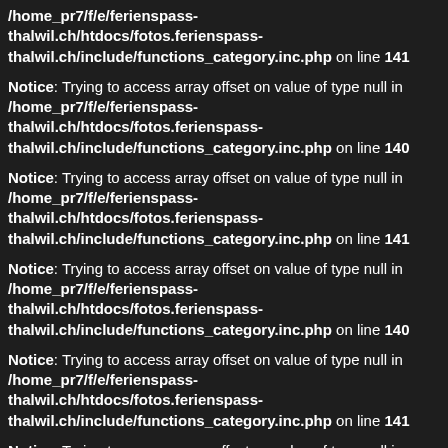/home_pr7/f/e/ferienspass-thalwil.ch/htdocs/fotos.ferienspass-thalwil.ch/include/functions_category.inc.php on line 141
Notice: Trying to access array offset on value of type null in /home_pr7/f/e/ferienspass-thalwil.ch/htdocs/fotos.ferienspass-thalwil.ch/include/functions_category.inc.php on line 140
Notice: Trying to access array offset on value of type null in /home_pr7/f/e/ferienspass-thalwil.ch/htdocs/fotos.ferienspass-thalwil.ch/include/functions_category.inc.php on line 141
Notice: Trying to access array offset on value of type null in /home_pr7/f/e/ferienspass-thalwil.ch/htdocs/fotos.ferienspass-thalwil.ch/include/functions_category.inc.php on line 140
Notice: Trying to access array offset on value of type null in /home_pr7/f/e/ferienspass-thalwil.ch/htdocs/fotos.ferienspass-thalwil.ch/include/functions_category.inc.php on line 141
Notice: Trying to access array offset on value of type null in /home_pr7/f/e/ferienspass-thalwil.ch/htdocs/fotos.ferienspass-thalwil.ch/include/functions_category.inc.php on line 140
Notice: Trying to access array offset on value of type null in /home_pr7/f/e/ferienspass-thalwil.ch/htdocs/fotos.ferienspass-thalwil.ch/include/functions_category.inc.php on line 141